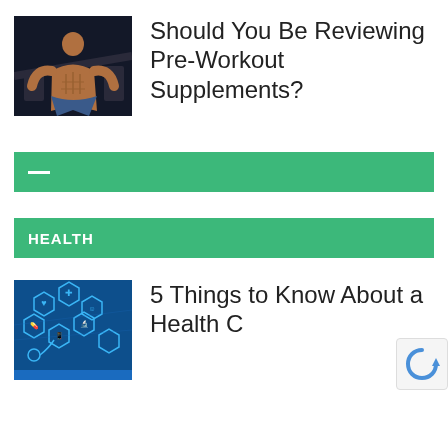[Figure (photo): Muscular shirtless man in gym, fitness photo]
Should You Be Reviewing Pre-Workout Supplements?
[Figure (other): Green bar with dash/minus icon]
HEALTH
[Figure (photo): Health technology concept image with blue hexagonal icons]
5 Things to Know About a Health C...